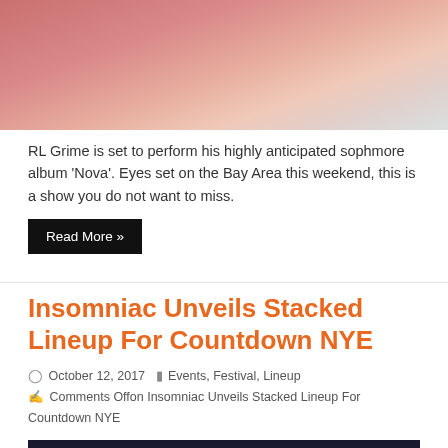[Figure (photo): Partial photo of a person wearing a light pink/white outfit against a reddish background, cropped at torso level]
RL Grime is set to perform his highly anticipated sophmore album 'Nova'. Eyes set on the Bay Area this weekend, this is a show you do not want to miss.
Read More »
Insomniac Unveils Stacked Lineup For Countdown NYE
October 12, 2017   Events, Festival, Lineup   Comments Offon Insomniac Unveils Stacked Lineup For Countdown NYE
[Figure (photo): Dark promotional image for Insomniac's Countdown NYE event featuring wing imagery and large COUNTDOWN text in white]